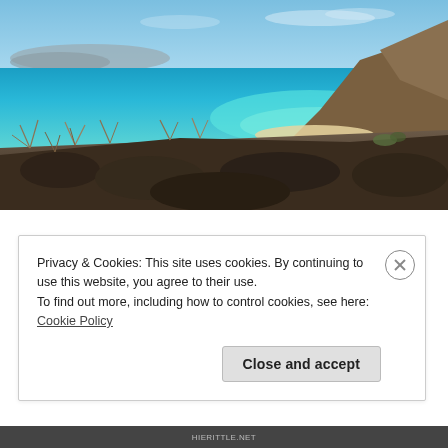[Figure (photo): Coastal landscape photograph showing rocky arid foreground with dry scrub vegetation, a turquoise blue bay with white sandy beach, and mountains/hills in the background under a blue sky.]
Privacy & Cookies: This site uses cookies. By continuing to use this website, you agree to their use.
To find out more, including how to control cookies, see here: Cookie Policy
Close and accept